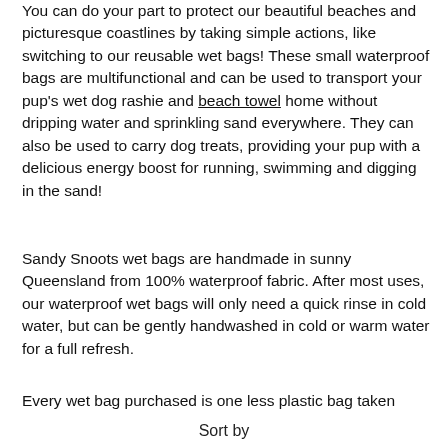You can do your part to protect our beautiful beaches and picturesque coastlines by taking simple actions, like switching to our reusable wet bags! These small waterproof bags are multifunctional and can be used to transport your pup's wet dog rashie and beach towel home without dripping water and sprinkling sand everywhere. They can also be used to carry dog treats, providing your pup with a delicious energy boost for running, swimming and digging in the sand!
Sandy Snoots wet bags are handmade in sunny Queensland from 100% waterproof fabric. After most uses, our waterproof wet bags will only need a quick rinse in cold water, but can be gently handwashed in cold or warm water for a full refresh.
Every wet bag purchased is one less plastic bag taken
Sort by